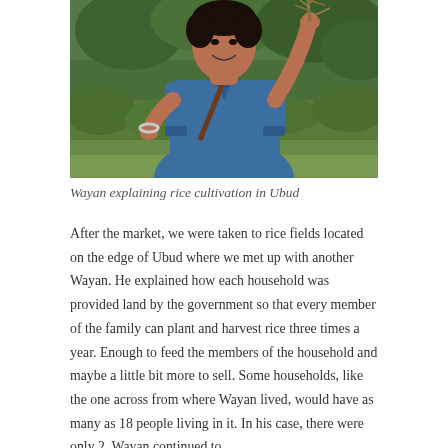[Figure (photo): A man in a blue denim short-sleeve shirt examines a dry rice plant stalk in a lush green rice field in Ubud, Bali. He is smiling and holding the plant with both hands, with green tropical vegetation in the background.]
Wayan explaining rice cultivation in Ubud
After the market, we were taken to rice fields located on the edge of Ubud where we met up with another Wayan. He explained how each household was provided land by the government so that every member of the family can plant and harvest rice three times a year. Enough to feed the members of the household and maybe a little bit more to sell. Some households, like the one across from where Wayan lived, would have as many as 18 people living in it. In his case, there were only 2. Wayan continued to